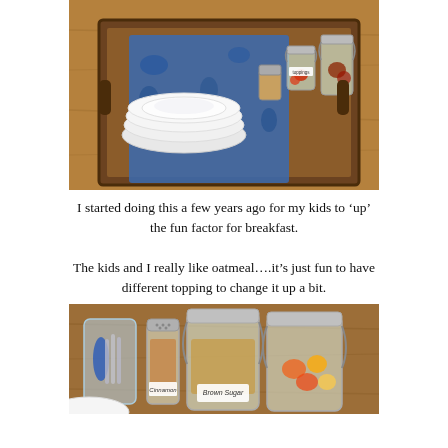[Figure (photo): Overhead view of a wooden tray with stacked white bowls/plates on a blue floral cloth runner, surrounded by small glass jars with lids containing various oatmeal toppings (spices, dried fruits). Wooden table surface visible.]
I started doing this a few years ago for my kids to ‘up’ the fun factor for breakfast.
The kids and I really like oatmeal….it’s just fun to have different topping to change it up a bit.
[Figure (photo): Close-up of glass jars and a glass holding utensils on a wooden table. Jars are labeled Cinnamon and Brown Sugar, with one jar containing fruit pieces. A cinnamon shaker is in the foreground.]